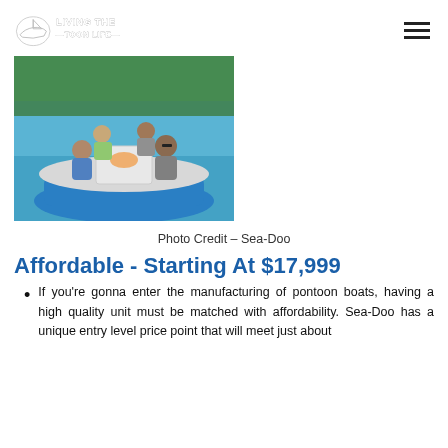LIVING THE TOON LIFE
[Figure (photo): Overhead view of a blue Sea-Doo pontoon boat with a family of four seated around a table on the water, surrounded by trees]
Photo Credit - Sea-Doo
Affordable - Starting At $17,999
If you're gonna enter the manufacturing of pontoon boats, having a high quality unit must be matched with affordability. Sea-Doo has a unique entry level price point that will meet just about